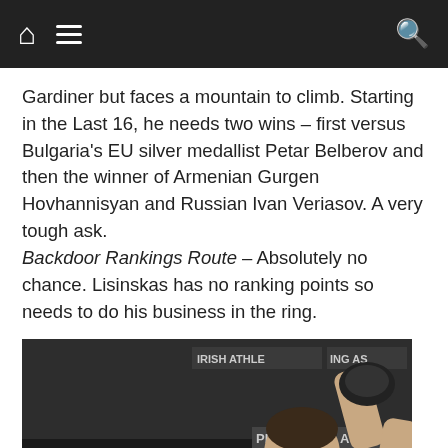Navigation bar with home, menu, and search icons
Gardiner but faces a mountain to climb. Starting in the Last 16, he needs two wins – first versus Bulgaria's EU silver medallist Petar Belberov and then the winner of Armenian Gurgen Hovhannisyan and Russian Ivan Veriasov. A very tough ask. Backdoor Rankings Route – Absolutely no chance. Lisinskas has no ranking points so needs to do his business in the ring.
[Figure (photo): A boxer raising his fist in celebration inside a boxing ring, with an audience visible in the background. Banners with partial text 'IRISH ATHLE', 'ING AS', 'PRIN', 'A' are visible.]